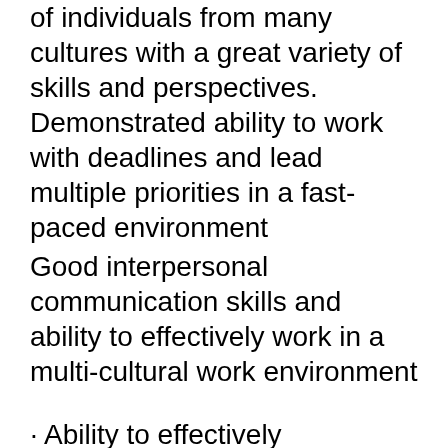of individuals from many cultures with a great variety of skills and perspectives. Demonstrated ability to work with deadlines and lead multiple priorities in a fast-paced environment
Good interpersonal communication skills and ability to effectively work in a multi-cultural work environment
· Ability to effectively communicate and work as a team member with collaborative partners, the community, and clients in a cross-cultural, multi-disciplinary environment.
· Proficient in Microsoft Office applications (Word, Excel, Outlook), strong keyboarding skills, and internet usage skills; database